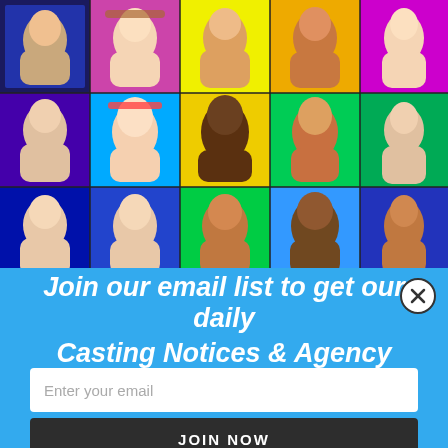[Figure (photo): Colorful collage of diverse people's faces showing various expressions on vivid neon-colored backgrounds arranged in a grid]
Join our email list to get our daily Casting Notices & Agency Updates
Enter your email
JOIN NOW